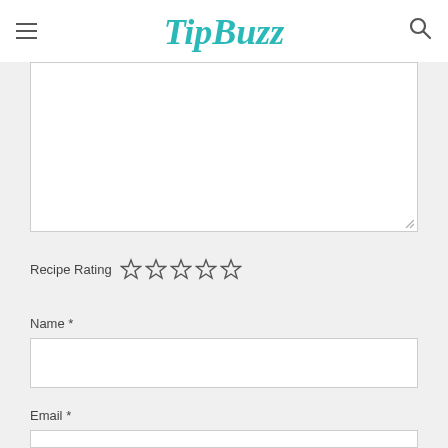TipBuzz
[Figure (screenshot): Comment textarea input box (empty)]
Recipe Rating ☆☆☆☆☆
Name *
[Figure (screenshot): Name text input field (empty)]
Email *
[Figure (screenshot): Email text input field (empty)]